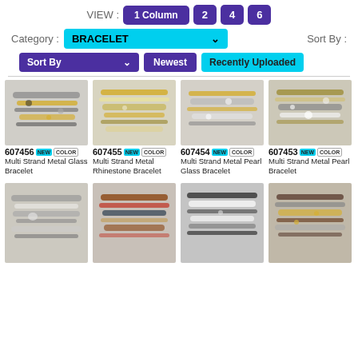VIEW : 1 Column  2  4  6
Category : BRACELET   Sort By :
Sort By   Newest   Recently Uploaded
[Figure (photo): Product 607456 - Multi Strand Metal Glass Bracelet, shown on display stand]
607456 NEW COLOR
Multi Strand Metal Glass Bracelet
[Figure (photo): Product 607455 - Multi Strand Metal Rhinestone Bracelet, shown on display stand]
607455 NEW COLOR
Multi Strand Metal Rhinestone Bracelet
[Figure (photo): Product 607454 - Multi Strand Metal Pearl Glass Bracelet, shown on display stand]
607454 NEW COLOR
Multi Strand Metal Pearl Glass Bracelet
[Figure (photo): Product 607453 - Multi Strand Metal Pearl Bracelet, shown on display stand]
607453 NEW COLOR
Multi Strand Metal Pearl Bracelet
[Figure (photo): Row 2 product 1 - bracelet on stand, silver/gray tones]
[Figure (photo): Row 2 product 2 - bracelet on stand, brown/red/blue tones]
[Figure (photo): Row 2 product 3 - bracelet on stand, black/white/gray tones]
[Figure (photo): Row 2 product 4 - bracelet on stand, brown/gold tones]